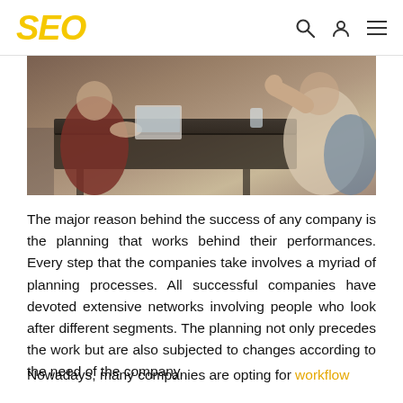SEO
[Figure (photo): People sitting at a table in a meeting or discussion setting, with laptops and documents visible.]
The major reason behind the success of any company is the planning that works behind their performances. Every step that the companies take involves a myriad of planning processes. All successful companies have devoted extensive networks involving people who look after different segments. The planning not only precedes the work but are also subjected to changes according to the need of the company.
Nowadays, many companies are opting for workflow